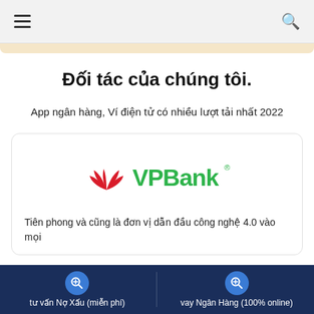≡  🔍
Đối tác của chúng tôi.
App ngân hàng, Ví điện tử có nhiều lượt tải nhất 2022
[Figure (logo): VPBank logo with red leaf/wheat symbol and green VPBank text with registered trademark symbol]
Tiên phong và cũng là đơn vị dẫn đầu công nghệ 4.0 vào mọi
tư vấn Nợ Xấu (miễn phí)
vay Ngân Hàng (100% online)